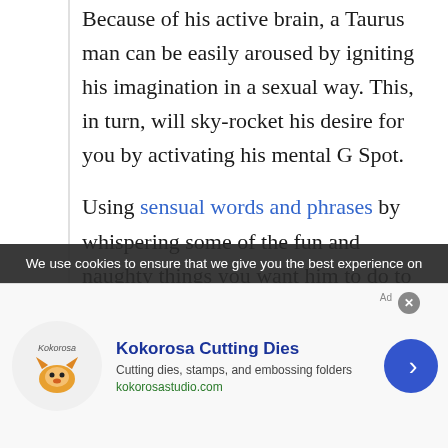Because of his active brain, a Taurus man can be easily aroused by igniting his imagination in a sexual way. This, in turn, will sky-rocket his desire for you by activating his mental G Spot.
Using sensual words and phrases by whispering some of the fun and naughty things you want him to do to you, or you to him will drive him wild! This technique also works wonderfully well with a Taurus guy during lovemaking also.
In this way, it will relay back to him the pleasure he is giving you and will send his senses into a ...
We use cookies to ensure that we give you the best experience on
[Figure (other): Advertisement for Kokorosa Cutting Dies showing logo with fox mascot, company name in blue bold text, subtitle 'Cutting dies, stamps, and embossing folders', URL kokorosastudio.com, and a blue circular arrow button on the right.]